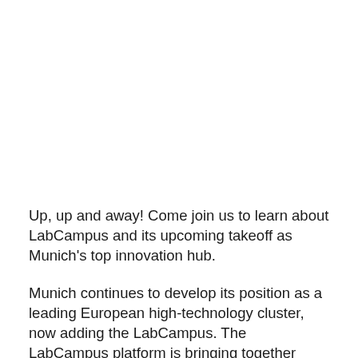Up, up and away! Come join us to learn about LabCampus and its upcoming takeoff as Munich's top innovation hub.
Munich continues to develop its position as a leading European high-technology cluster, now adding the LabCampus. The LabCampus platform is bringing together major high technology companies and initiatives, knowledge partners, innovators and investors in a productive...